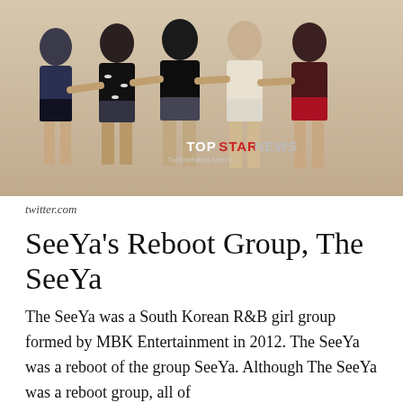[Figure (photo): Group photo of five young Korean women posing together against a beige/cream background, wearing fashionable outfits. A 'TOPSTARNEWS' watermark is visible in the lower center of the image.]
twitter.com
SeeYa’s Reboot Group, The SeeYa
The SeeYa was a South Korean R&B girl group formed by MBK Entertainment in 2012. The SeeYa was a reboot of the group SeeYa. Although The SeeYa was a reboot group, all of